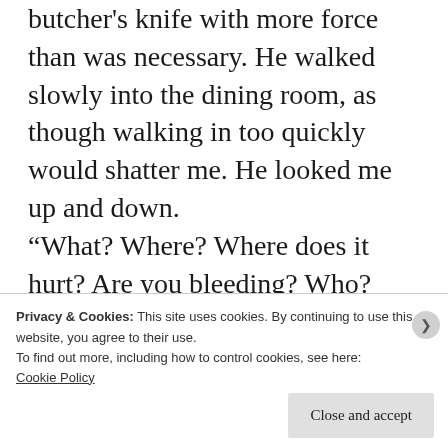butcher's knife with more force than was necessary. He walked slowly into the dining room, as though walking in too quickly would shatter me. He looked me up and down. “What? Where? Where does it hurt? Are you bleeding? Who? Who? Did you get the license plate?” I told them what happened, emphasizing that only my arm hurt – and on the arm, only my tricep…but the pain was increasing and I feared I had a fracture.
Privacy & Cookies: This site uses cookies. By continuing to use this website, you agree to their use.
To find out more, including how to control cookies, see here: Cookie Policy
Close and accept